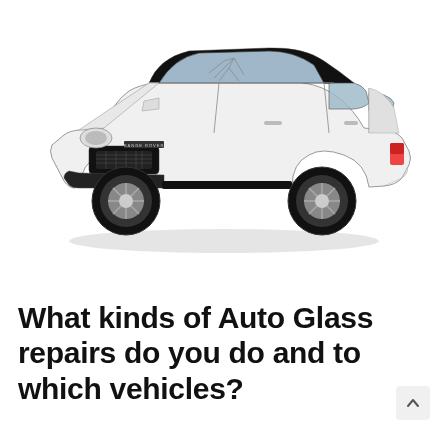[Figure (photo): A white Land Rover Range Rover Sport SUV with a cracked windshield, shown on a white background in a 3/4 front-left angle view.]
What kinds of Auto Glass repairs do you do and to which vehicles?